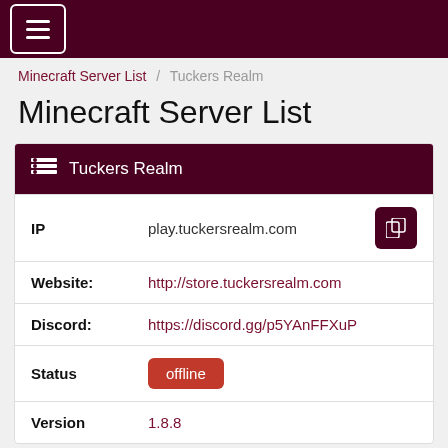≡
Minecraft Server List / Tuckers Realm
Minecraft Server List
| Field | Value |
| --- | --- |
| IP | play.tuckersrealm.com |
| Website: | http://store.tuckersrealm.com |
| Discord: | https://discord.gg/p5YAnFFXuP |
| Status | offline |
| Version | 1.8.8 |